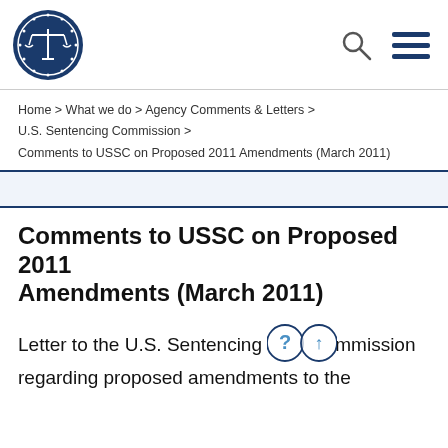[Figure (logo): National Association of Criminal Defense Lawyers circular blue logo with scales of justice]
Home > What we do > Agency Comments & Letters > U.S. Sentencing Commission > Comments to USSC on Proposed 2011 Amendments (March 2011)
Comments to USSC on Proposed 2011 Amendments (March 2011)
Letter to the U.S. Sentencing Commission regarding proposed amendments to the